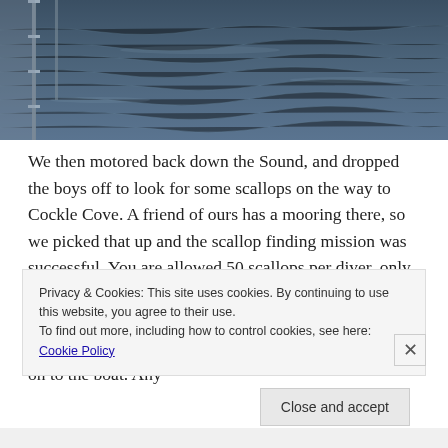[Figure (photo): Ocean/sea view from a boat deck with railing visible on the left, dark blue choppy water filling the frame]
We then motored back down the Sound, and dropped the boys off to look for some scallops on the way to Cockle Cove. A friend of ours has a mooring there, so we picked that up and the scallop finding mission was successful. You are allowed 50 scallops per diver, only during the scallop season, and they have to be a minimum of 90ml wide. We check them when we pick them up from the bottom, and again when they come on to the boat. Any
Privacy & Cookies: This site uses cookies. By continuing to use this website, you agree to their use.
To find out more, including how to control cookies, see here: Cookie Policy
Close and accept